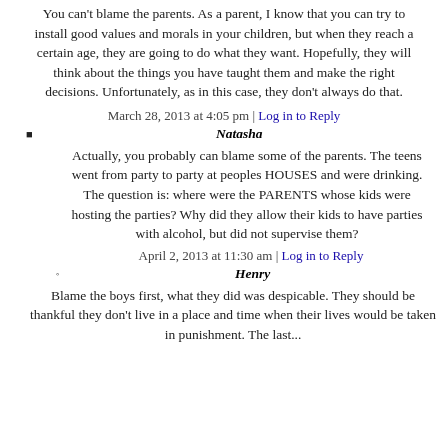You can't blame the parents. As a parent, I know that you can try to install good values and morals in your children, but when they reach a certain age, they are going to do what they want. Hopefully, they will think about the things you have taught them and make the right decisions. Unfortunately, as in this case, they don't always do that.
March 28, 2013 at 4:05 pm | Log in to Reply
Natasha
Actually, you probably can blame some of the parents. The teens went from party to party at peoples HOUSES and were drinking. The question is: where were the PARENTS whose kids were hosting the parties? Why did they allow their kids to have parties with alcohol, but did not supervise them?
April 2, 2013 at 11:30 am | Log in to Reply
Henry
Blame the boys first, what they did was despicable. They should be thankful they don't live in a place and time when their lives would be taken in punishment. The last...